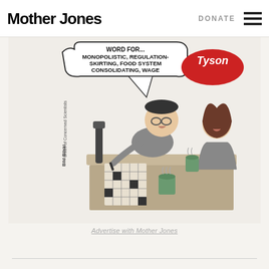Mother Jones | DONATE
[Figure (illustration): Editorial cartoon showing a man doing a crossword puzzle at a desk and a woman holding a coffee mug. A speech bubble reads: 'WORD FOR... MONOPOLISTIC, REGULATION-SKIRTING, FOOD SYSTEM CONSOLIDATING, WAGE DEPRESSOR?' with a Tyson logo in a red oval. Artist signature: Bild Bilski. Union of Concerned Scientists attribution on left side.]
Advertise with Mother Jones
+ VIEW COMMENTS